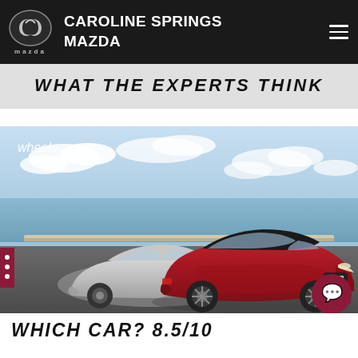CAROLINE SPRINGS MAZDA
WHAT THE EXPERTS THINK
[Figure (photo): Two Mazda MX-5 sports cars parked on a road with ocean and blue sky background. A silver/white MX-5 is on the left rear and a red MX-5 is in the foreground right. 'wheels' magazine logo is in the top-left corner of the photo.]
WHICH CAR? 8.5/10